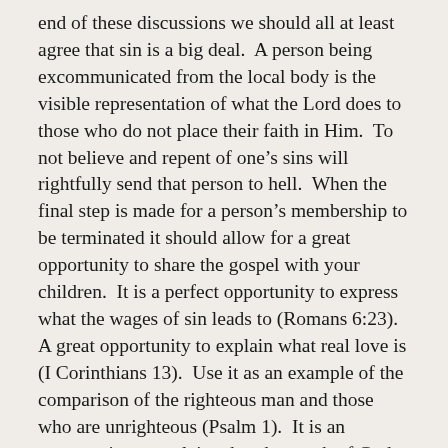end of these discussions we should all at least agree that sin is a big deal.  A person being excommunicated from the local body is the visible representation of what the Lord does to those who do not place their faith in Him.  To not believe and repent of one's sins will rightfully send that person to hell.  When the final step is made for a person's membership to be terminated it should allow for a great opportunity to share the gospel with your children.  It is a perfect opportunity to express what the wages of sin leads to (Romans 6:23).  A great opportunity to explain what real love is (I Corinthians 13).  Use it as an example of the comparison of the righteous man and those who are unrighteous (Psalm 1).  It is an opportunity to explain what the wrath of God looks like (Romans 1).  Something as somber as church discipline can be used as an excellent tool for sharing the gospel.
It's an opportunity for self-examination.